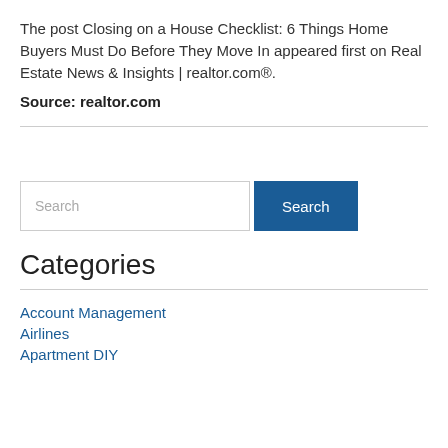The post Closing on a House Checklist: 6 Things Home Buyers Must Do Before They Move In appeared first on Real Estate News & Insights | realtor.comÂ®.
Source: realtor.com
[Figure (other): Search input field with Search button]
Categories
Account Management
Airlines
Apartment DIY